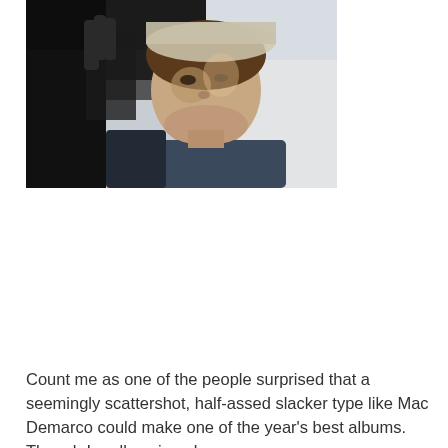[Figure (photo): A young man wearing a cap, looking down at the camera from above. He is wearing a dark blue/navy long-sleeve shirt. The photo is taken from a low angle looking upward. Background includes a light colored building or sky.]
Count me as one of the people surprised that a seemingly scattershot, half-assed slacker type like Mac Demarco could make one of the year's best albums. Though I really enjoyed